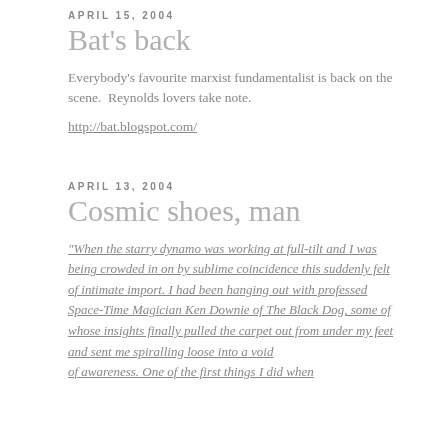APRIL 15, 2004
Bat's back
Everybody's favourite marxist fundamentalist is back on the scene. Reynolds lovers take note.
http://bat.blogspot.com/
APRIL 13, 2004
Cosmic shoes, man
“When the starry dynamo was working at full-tilt and I was being crowded in on by sublime coincidence this suddenly felt of intimate import. I had been hanging out with professed Space-Time Magician Ken Downie of The Black Dog, some of whose insights finally pulled the carpet out from under my feet and sent me spiralling loose into a void of awareness. One of the first things I did when